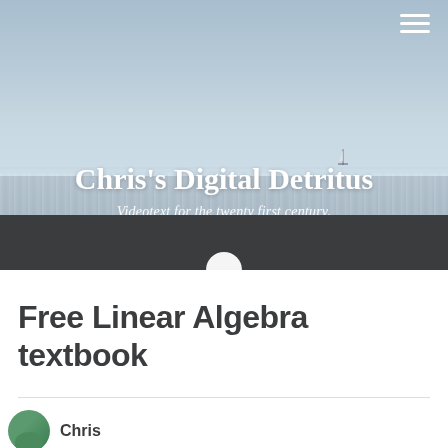[Figure (photo): Hero banner with seascape background — sky, sea horizon with a sailboat visible in the distance, dark footer bar at bottom]
Chris's Digital Detritus
Videotext for the twenty first century.
Free Linear Algebra textbook
Chris